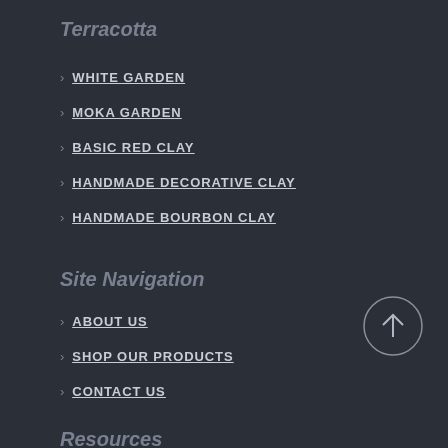Terracotta
WHITE GARDEN
MOKA GARDEN
BASIC RED CLAY
HANDMADE DECORATIVE CLAY
HANDMADE BOURBON CLAY
Site Navigation
ABOUT US
SHOP OUR PRODUCTS
CONTACT US
[Figure (illustration): Circular scroll-to-top button with upward arrow]
Resources